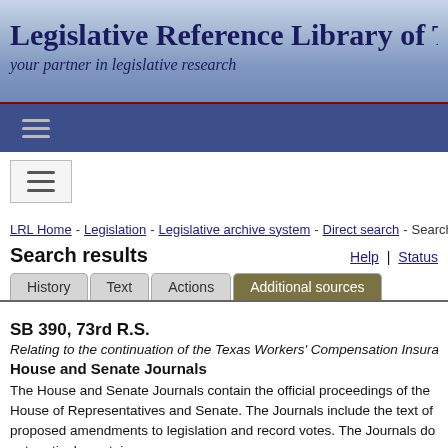Legislative Reference Library of Texas
your partner in legislative research
LRL Home - Legislation - Legislative archive system - Direct search - Search results
Search results
Help | Status
History  Text  Actions  Additional sources
SB 390, 73rd R.S.
Relating to the continuation of the Texas Workers' Compensation Insurance Facility.
House and Senate Journals
The House and Senate Journals contain the official proceedings of the House of Representatives and Senate. The Journals include the text of proposed amendments to legislation and record votes. The Journals do not routinely contain